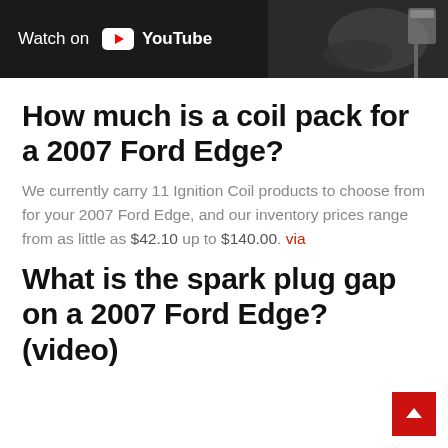[Figure (screenshot): YouTube video thumbnail bar with 'Watch on YouTube' text on dark background, with a partial image of a car engine/coil pack on the right side]
How much is a coil pack for a 2007 Ford Edge?
We currently carry 11 Ignition Coil products to choose from for your 2007 Ford Edge, and our inventory prices range from as little as $42.10 up to $140.00. via
What is the spark plug gap on a 2007 Ford Edge? (video)